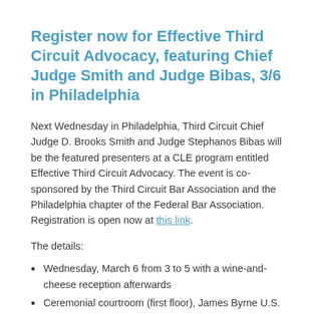Register now for Effective Third Circuit Advocacy, featuring Chief Judge Smith and Judge Bibas, 3/6 in Philadelphia
Next Wednesday in Philadelphia, Third Circuit Chief Judge D. Brooks Smith and Judge Stephanos Bibas will be the featured presenters at a CLE program entitled Effective Third Circuit Advocacy. The event is co-sponsored by the Third Circuit Bar Association and the Philadelphia chapter of the Federal Bar Association. Registration is open now at this link.
The details:
Wednesday, March 6 from 3 to 5 with a wine-and-cheese reception afterwards
Ceremonial courtroom (first floor), James Byrne U.S. Courthouse, 601 Market Street